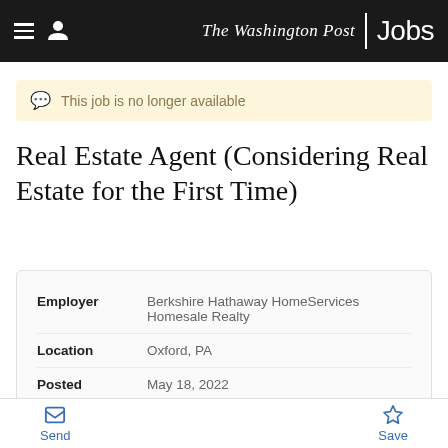The Washington Post Jobs
This job is no longer available
Real Estate Agent (Considering Real Estate for the First Time)
| Field | Value |
| --- | --- |
| Employer | Berkshire Hathaway HomeServices Homesale Realty |
| Location | Oxford, PA |
| Posted | May 18, 2022 |
| Closes | May 26, 2022 |
| Ref | 530053355 |
Send  Save